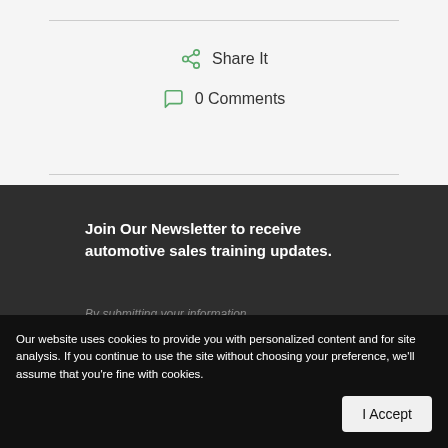Share It
0 Comments
Join Our Newsletter to receive automotive sales training updates.
By submitting your information, you're giving us permission to email you. You may unsubscribe at any time.
Name (required)
Our website uses cookies to provide you with personalized content and for site analysis. If you continue to use the site without choosing your preference, we'll assume that you're fine with cookies.